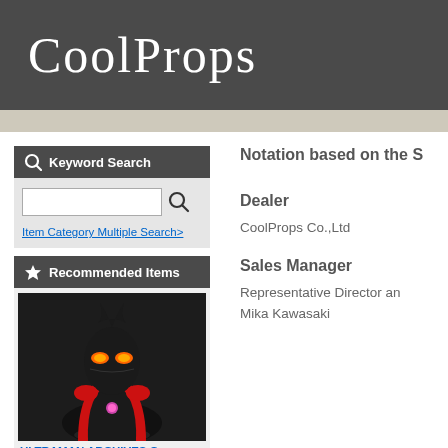CoolProps
Keyword Search
Item Category Multiple Search>
Recommended Items
[Figure (photo): Dark-themed bust figure of an Ultraman-style character with glowing orange eyes and pink chest piece, mounted on a black stand]
ULTRAMAN ARCHIVES C
Notation based on the S
Dealer
CoolProps Co.,Ltd
Sales Manager
Representative Director an
Mika Kawasaki